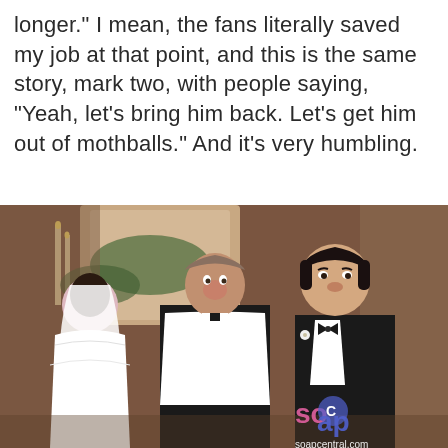longer." I mean, the fans literally saved my job at that point, and this is the same story, mark two, with people saying, "Yeah, let's bring him back. Let's get him out of mothballs." And it's very humbling.
[Figure (photo): A scene from a soap opera showing a wedding ceremony. A woman in a white wedding dress and veil is on the left, a priest/minister in black and white robes stands in the center looking surprised, and a man in a black tuxedo with a boutonniere stands on the right. The setting appears to be a church decorated with candles and flowers. A 'Soap Central - soapcentral.com' watermark logo appears in the bottom right corner.]